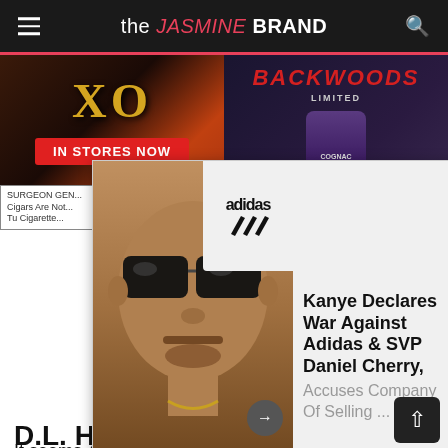the JASMINE BRAND
[Figure (screenshot): Advertisement banner showing XO cognac and Backwoods cigars with 'IN STORES NOW' button]
[Figure (screenshot): Popup overlay showing Kanye West wearing sunglasses, with Adidas logo, and headline 'Kanye Declares War Against Adidas & SVP Daniel Cherry, Accuses Company Of Selling ...']
D.L. Hughley... Conveniently...
It seems 43-ye... ignited some feelings in comedian and very vocal radio show host, D.L. Hughley.  Amid Kanye West's presidential election campaign he has been the subject of several Twitter trends, having made, what some believe to be, outrageous statements...